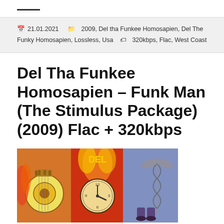—
21.01.2021   2009, Del tha Funkee Homosapien, Del The Funky Homosapien, Lossless, Usa   320kbps, Flac, West Coast
Del Tha Funkee Homosapien – Funk Man (The Stimulus Package) (2009) Flac + 320kbps
[Figure (illustration): Album art for Del Tha Funkee Homosapien – Funk Man (The Stimulus Package), a colorful cartoon illustration showing musical instruments and symbolic imagery including a guitar, clock, and caduceus symbol against orange/red flames background.]